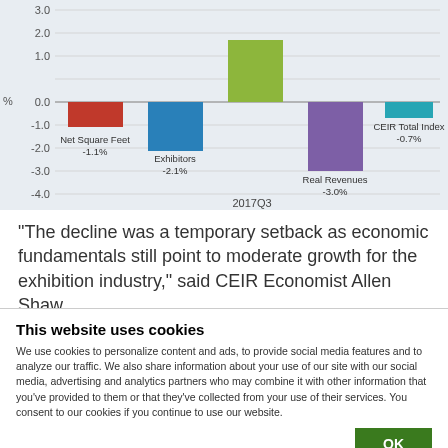[Figure (bar-chart): 2017Q3]
“The decline was a temporary setback as economic fundamentals still point to moderate growth for the exhibition industry,” said CEIR Economist Allen Shaw, Ph.D., Chief Economist for Global Economic Consulting
This website uses cookies
We use cookies to personalize content and ads, to provide social media features and to analyze our traffic. We also share information about your use of our site with our social media, advertising and analytics partners who may combine it with other information that you’ve provided to them or that they’ve collected from your use of their services. You consent to our cookies if you continue to use our website.